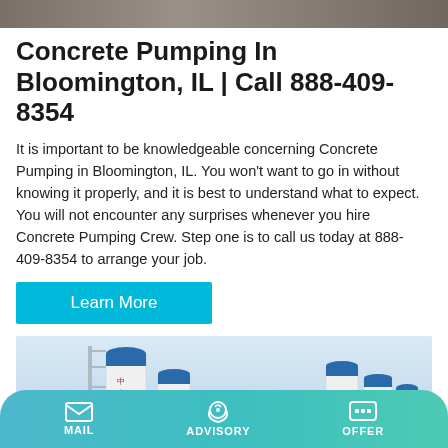[Figure (photo): Top photograph of concrete pumping equipment or construction site, partially cropped]
Concrete Pumping In Bloomington, IL | Call 888-409-8354
It is important to be knowledgeable concerning Concrete Pumping in Bloomington, IL. You won't want to go in without knowing it properly, and it is best to understand what to expect. You will not encounter any surprises whenever you hire Concrete Pumping Crew. Step one is to call us today at 888-409-8354 to arrange your job.
Learn More
[Figure (photo): Photo of industrial concrete mixing silos — tall blue and white cylindrical silos against a light blue sky]
MAIL   ADVISORY   OFFER